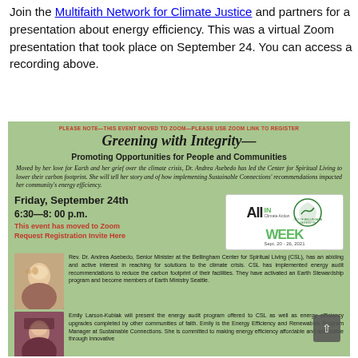Join the Multifaith Network for Climate Justice and partners for a presentation about energy efficiency. This was a virtual Zoom presentation that took place on September 24. You can access a recording above.
[Figure (infographic): Flyer for 'Greening with Integrity— Promoting Opportunities for People and Communities' event. Notice at top in red: PLEASE NOTE—THIS EVENT MOVED TO ZOOM—PLEASE USE ZOOM LINK TO REGISTER. Event date: Friday, September 24th, 6:30—8:00 p.m. Includes All IN Climate Action Week logo and City of Bellingham Washington seal. Bio photos and text for Rev. Dr. Andrea Asebedo and Emily Larson-Kubiak.]